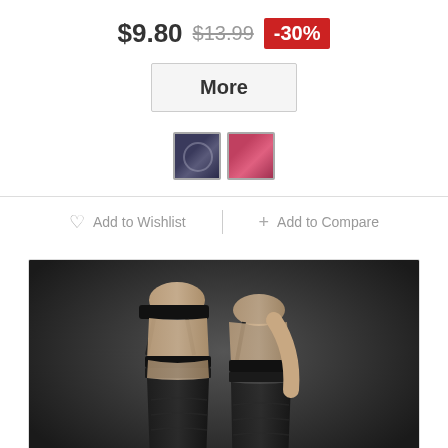$9.80 $13.99 -30%
More
[Figure (other): Two color swatches: dark/blue-grey and pink/red]
Add to Wishlist
Add to Compare
[Figure (photo): Product photo of lace stay-up stockings with garter belt on model, against dark background]